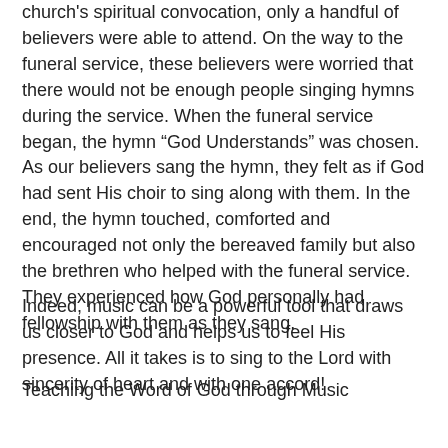church's spiritual convocation, only a handful of believers were able to attend. On the way to the funeral service, these believers were worried that there would not be enough people singing hymns during the service. When the funeral service began, the hymn “God Understands” was chosen. As our believers sang the hymn, they felt as if God had sent His choir to sing along with them. In the end, the hymn touched, comforted and encouraged not only the bereaved family but also the brethren who helped with the funeral service. They experienced how God personally had fellowship with them as they sang.
Indeed, music can be a powerful tool that draws us closer to God and helps us to feel His presence. All it takes is to sing to the Lord with sincerity of heart and with one accord!
Teaching the Word of God through Music
Teaching through oral and written instructions is commonly accepted as effective means to pass on knowledge. However, we see that songs or music can also be an effective way of teaching. Paul tells us that psalms, hymns and spiritual songs can be used in teaching and admonishing one another.